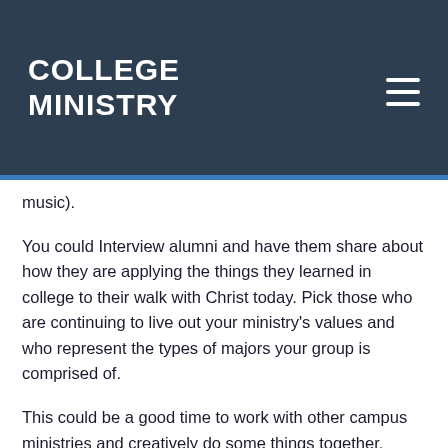COLLEGE MINISTRY
music).
You could Interview alumni and have them share about how they are applying the things they learned in college to their walk with Christ today. Pick those who are continuing to live out your ministry’s values and who represent the types of majors your group is comprised of.
This could be a good time to work with other campus ministries and creatively do some things together.
Follow-up questions f